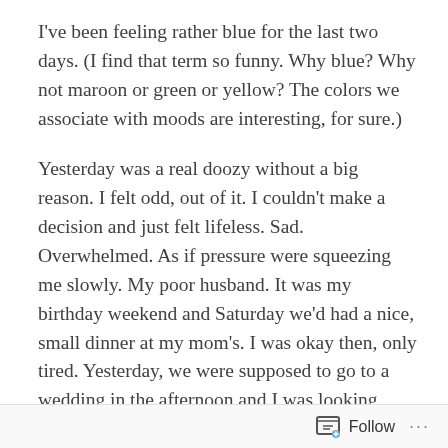I've been feeling rather blue for the last two days. (I find that term so funny. Why blue? Why not maroon or green or yellow? The colors we associate with moods are interesting, for sure.)
Yesterday was a real doozy without a big reason. I felt odd, out of it. I couldn't make a decision and just felt lifeless. Sad. Overwhelmed. As if pressure were squeezing me slowly. My poor husband. It was my birthday weekend and Saturday we'd had a nice, small dinner at my mom's. I was okay then, only tired. Yesterday, we were supposed to go to a wedding in the afternoon and I was looking forward to dressing up, going out (sans kids) and dancing. It didn't happen. Earlier in the day, my husband tried cheering me up by forcing me to get a manicure and pedicure, which I hadn't gotten in several months. and it was okay. But it didn't cheer me up. All
Follow ···